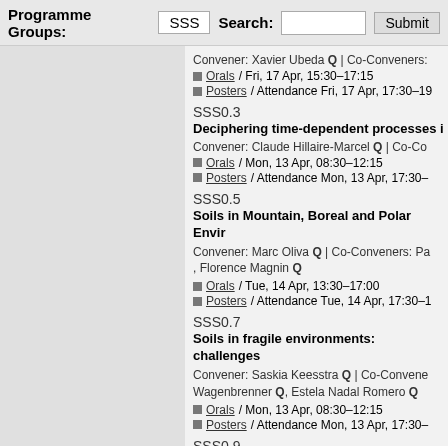Programme Groups: SSS   Search:  [input]  Submit
Convener: Xavier Ubeda Q | Co-Conveners:
Orals / Fri, 17 Apr, 15:30–17:15
Posters / Attendance Fri, 17 Apr, 17:30–19
SSS0.3
Deciphering time-dependent processes i
Convener: Claude Hillaire-Marcel Q | Co-Co
Orals / Mon, 13 Apr, 08:30–12:15
Posters / Attendance Mon, 13 Apr, 17:30–
SSS0.5
Soils in Mountain, Boreal and Polar Envir
Convener: Marc Oliva Q | Co-Conveners: Pa, Florence Magnin Q
Orals / Tue, 14 Apr, 13:30–17:00
Posters / Attendance Tue, 14 Apr, 17:30–1
SSS0.7
Soils in fragile environments: challenges
Convener: Saskia Keesstra Q | Co-Convene Wagenbrenner Q, Estela Nadal Romero Q
Orals / Mon, 13 Apr, 08:30–12:15
Posters / Attendance Mon, 13 Apr, 17:30–
SSS0.9
Soils of the world: from natural to urban s
Convener: Sarah Pariente Q | Co-Convener
Orals / Tue, 14 Apr, 10:00–17:00